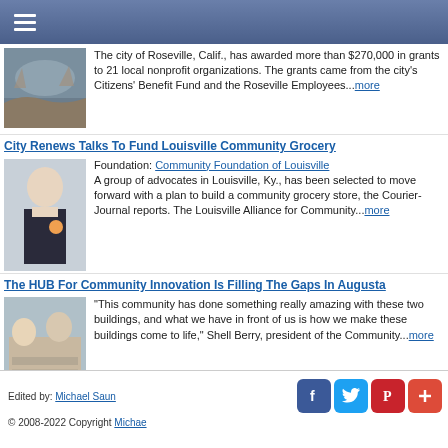Navigation menu
The city of Roseville, Calif., has awarded more than $270,000 in grants to 21 local nonprofit organizations. The grants came from the city's Citizens' Benefit Fund and the Roseville Employees...more
City Renews Talks To Fund Louisville Community Grocery
Foundation: Community Foundation of Louisville
A group of advocates in Louisville, Ky., has been selected to move forward with a plan to build a community grocery store, the Courier-Journal reports. The Louisville Alliance for Community...more
The HUB For Community Innovation Is Filling The Gaps In Augusta
"This community has done something really amazing with these two buildings, and what we have in front of us is how we make these buildings come to life," Shell Berry, president of the Community...more
Edited by: Michael Saun  © 2008-2022 Copyright Michae